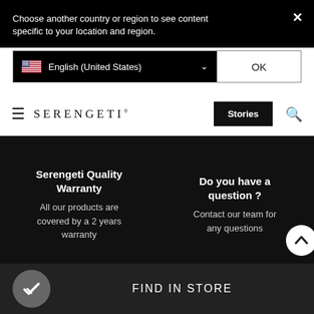Choose another country or region to see content specific to your location and region.
English (United States)
OK
SERENGETI Stories
Serengeti Quality Warranty
All our products are covered by a 2 years warranty
Do you have a question ?
Contact our team for any questions
FIND IN STORE